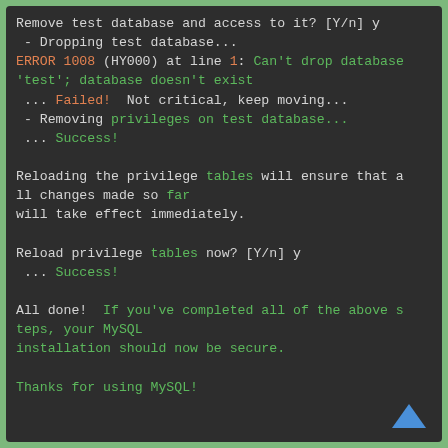Remove test database and access to it? [Y/n] y
 - Dropping test database...
ERROR 1008 (HY000) at line 1: Can't drop database 'test'; database doesn't exist
 ... Failed!  Not critical, keep moving...
 - Removing privileges on test database...
 ... Success!

Reloading the privilege tables will ensure that all changes made so far
will take effect immediately.

Reload privilege tables now? [Y/n] y
 ... Success!

All done!  If you've completed all of the above steps, your MySQL
installation should now be secure.

Thanks for using MySQL!


Cleaning up...